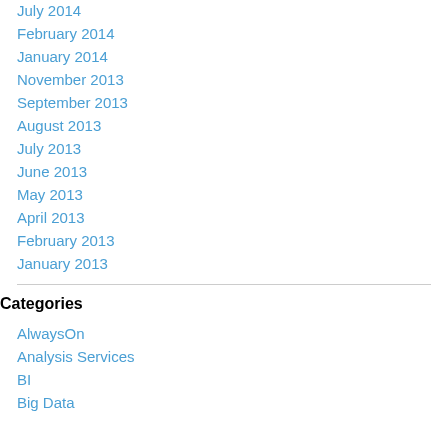July 2014
February 2014
January 2014
November 2013
September 2013
August 2013
July 2013
June 2013
May 2013
April 2013
February 2013
January 2013
Categories
AlwaysOn
Analysis Services
BI
Big Data